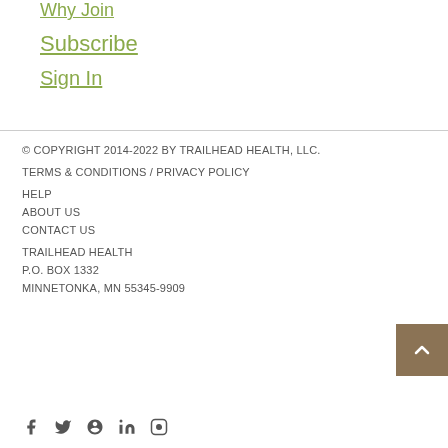Why Join
Subscribe
Sign In
© COPYRIGHT 2014-2022 BY TRAILHEAD HEALTH, LLC.
TERMS & CONDITIONS / PRIVACY POLICY
HELP
ABOUT US
CONTACT US
TRAILHEAD HEALTH
P.O. BOX 1332
MINNETONKA, MN 55345-9909